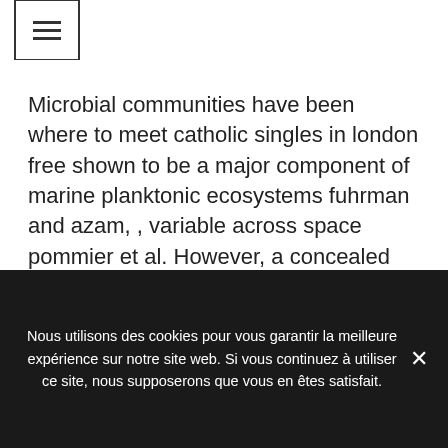☰
Microbial communities have been where to meet catholic singles in london free shown to be a major component of marine planktonic ecosystems fuhrman and azam, , variable across space pommier et al. However, a concealed pistol license does not authorize the individual to use the pistol to take game except as provided by law. The format was changed so that each star would have five
Nous utilisons des cookies pour vous garantir la meilleure expérience sur notre site web. Si vous continuez à utiliser ce site, nous supposerons que vous en êtes satisfait.